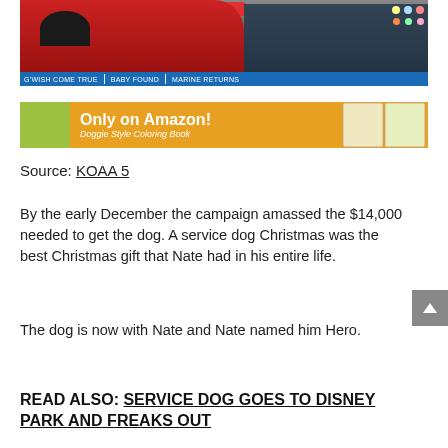[Figure (screenshot): TV news screenshot showing a woman in red with a Christmas decoration in background, news ticker at bottom reading 'G'WISH COME TRUE | BABY FOUND | MARINE RETURNS']
[Figure (photo): Advertisement banner: 'Only on Amazon! Doggie Style Coloring Book' on orange background with book cover images]
Source: KOAA 5
By the early December the campaign amassed the $14,000 needed to get the dog. A service dog Christmas was the best Christmas gift that Nate had in his entire life.
The dog is now with Nate and Nate named him Hero.
READ ALSO: SERVICE DOG GOES TO DISNEY PARK AND FREAKS OUT